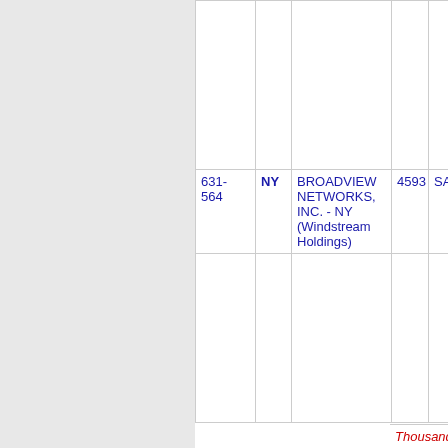| NXX | State | Company | OCN | City |
| --- | --- | --- | --- | --- |
| 631-564 | NY | BROADVIEW NETWORKS, INC. - NY (Windstream Holdings) | 4593 | SAYVIL... |
Thousands block for 631-602...